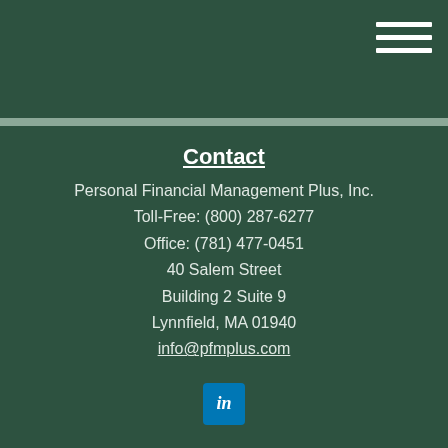[Figure (other): Hamburger menu icon with three horizontal white lines on dark green background]
Contact
Personal Financial Management Plus, Inc.
Toll-Free: (800) 287-6277
Office: (781) 477-0451
40 Salem Street
Building 2 Suite 9
Lynnfield, MA 01940
info@pfmplus.com
[Figure (logo): LinkedIn icon - blue square with white 'in' text]
Quick Links
Retirement
Investment
Estate
Insurance
Tax